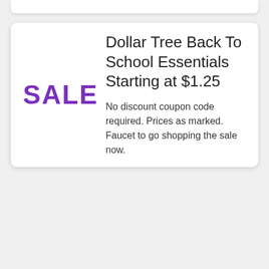Dollar Tree Back To School Essentials Starting at $1.25
No discount coupon code required. Prices as marked. Faucet to go shopping the sale now.